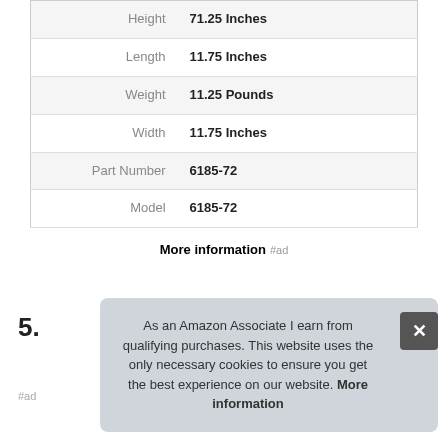|  |  |
| --- | --- |
| Height | 71.25 Inches |
| Length | 11.75 Inches |
| Weight | 11.25 Pounds |
| Width | 11.75 Inches |
| Part Number | 6185-72 |
| Model | 6185-72 |
More information #ad
5.
As an Amazon Associate I earn from qualifying purchases. This website uses the only necessary cookies to ensure you get the best experience on our website. More information
#ad